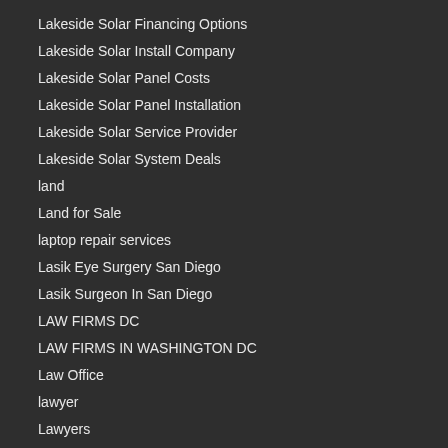Lakeside Solar Financing Options
Lakeside Solar Install Company
Lakeside Solar Panel Costs
Lakeside Solar Panel Installation
Lakeside Solar Service Provider
Lakeside Solar System Deals
land
Land for Sale
laptop repair services
Lasik Eye Surgery San Diego
Lasik Surgeon In San Diego
LAW FIRMS DC
LAW FIRMS IN WASHINGTON DC
Law Office
lawyer
Lawyers